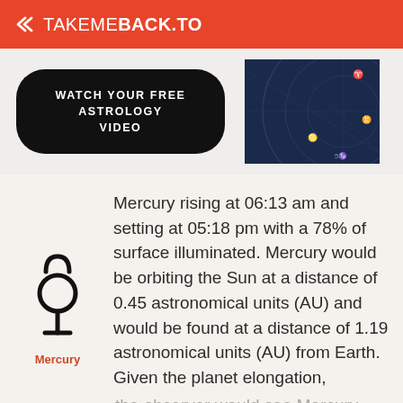TAKEMEBACK.TO
[Figure (other): Ad banner with black rounded button 'WATCH YOUR FREE ASTROLOGY VIDEO' and a partial astrology chart image on the right]
Mercury rising at 06:13 am and setting at 05:18 pm with a 78% of surface illuminated. Mercury would be orbiting the Sun at a distance of 0.45 astronomical units (AU) and would be found at a distance of 1.19 astronomical units (AU) from Earth. Given the planet elongation,
[Figure (illustration): Mercury astrological symbol (circle with horns on top and cross below)]
Mercury
the observer would see Mercury at an angle of -21° 39' 53.6" with the